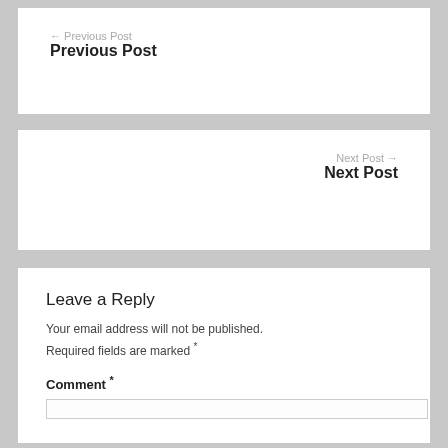← Previous Post
Previous Post
Next Post →
Next Post
Leave a Reply
Your email address will not be published. Required fields are marked *
Comment *